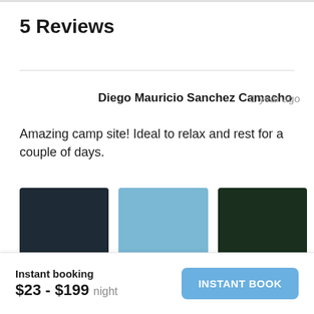5 Reviews
Diego Mauricio Sanchez Camacho   1 year ago
Amazing camp site! Ideal to relax and rest for a couple of days.
[Figure (photo): Three review photos: dark navy image, light blue image, dark green image]
Instant booking
$23 - $199 night
INSTANT BOOK